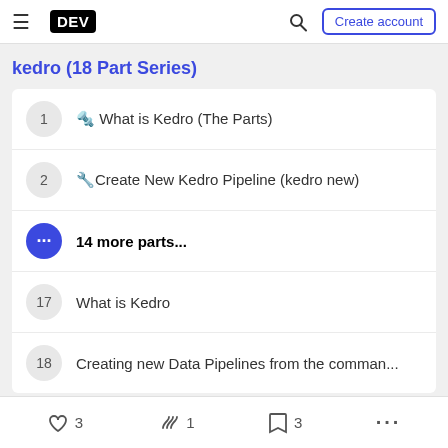DEV | Create account
kedro (18 Part Series)
1 🔩 What is Kedro (The Parts)
2 🔧Create New Kedro Pipeline (kedro new)
14 more parts...
17 What is Kedro
18 Creating new Data Pipelines from the comman...
3 likes  1 unicorn  3 bookmarks  ...